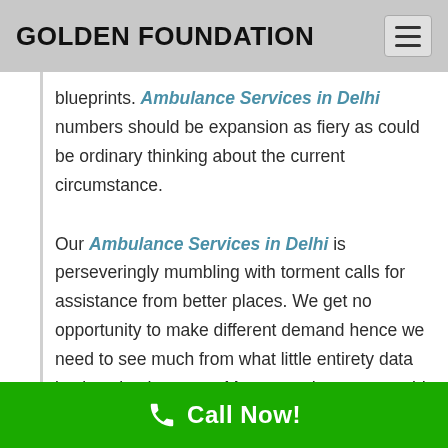GOLDEN FOUNDATION
blueprints. Ambulance Services in Delhi numbers should be expansion as fiery as could be ordinary thinking about the current circumstance.
Our Ambulance Services in Delhi is perseveringly mumbling with torment calls for assistance from better places. We get no opportunity to make different demand hence we need to see much from what little entirety data is given by the guest. Moreover, the guest could a dreadful mishap, relative of hurt individual or an onlooker. We aren't worried over the character of the guest in any case with the
Call Now!